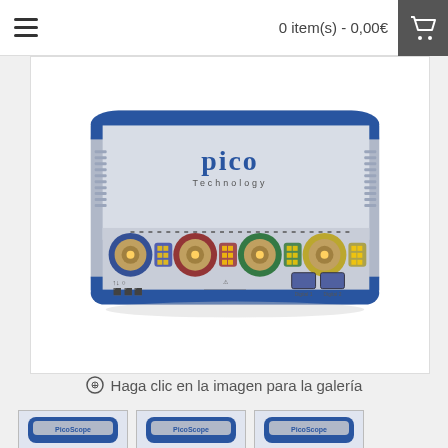0 item(s) - 0,00€
[Figure (photo): Pico Technology oscilloscope device with blue casing, four BNC input connectors colored blue, red, green, and yellow, and two digital input ports on the right side. The top shows the Pico Technology logo on a silver brushed metal surface.]
Haga clic en la imagen para la galería
[Figure (photo): Three small thumbnail images of Pico Technology oscilloscope devices shown at the bottom of the page.]